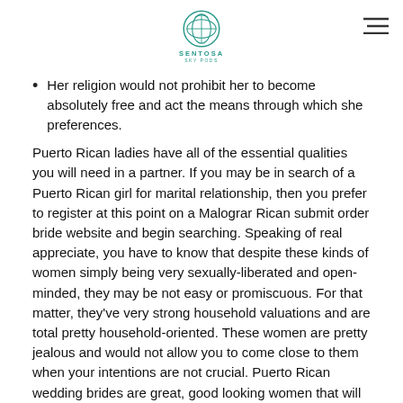SENTOSA SKY PODS
Her religion would not prohibit her to become absolutely free and act the means through which she preferences.
Puerto Rican ladies have all of the essential qualities you will need in a partner. If you may be in search of a Puerto Rican girl for marital relationship, then you prefer to register at this point on a Malograr Rican submit order bride website and begin searching. Speaking of real appreciate, you have to know that despite these kinds of women simply being very sexually-liberated and open-minded, they may be not easy or promiscuous. For that matter, they've very strong household valuations and are total pretty household-oriented. These women are pretty jealous and would not allow you to come close to them when your intentions are not crucial. Puerto Rican wedding brides are great, good looking women that will make the proper companion for the man on the western part of the country. Do not waste materials any additional time, get relationship on-line and search for the latest Puerto Rican hotties on the market right